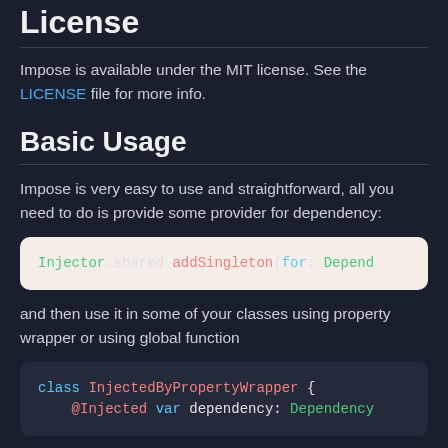License
Impose is available under the MIT license. See the LICENSE file for more info.
Basic Usage
Impose is very easy to use and straightforward, all you need to do is provide some provider for dependency:
Injector.shared.addSingleton(for: Depend
and then use it in some of your classes using property wrapper or using global function
class InjectedByPropertyWrapper {
    @Injected var dependency: Dependency